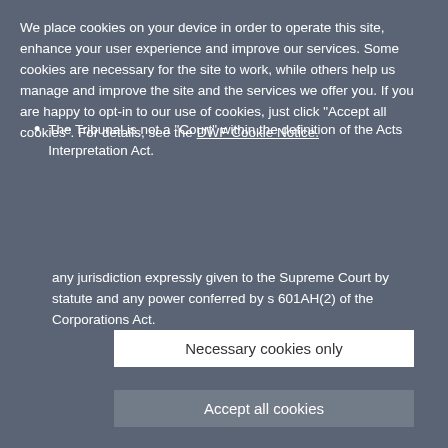We place cookies on your device in order to operate this site, enhance your user experience and improve our services. Some cookies are necessary for the site to work, while others help us manage and improve the site and the services we offer you. If you are happy to opt-in to our use of cookies, just click "Accept all cookies". For details, see the DWF Cookie Notice.
The Tribunal is not a "Court" within the definition of the Acts Interpretation Act.
The Tribunal had no power to exercise any jurisdiction expressly given to the Supreme Court by statute and any power conferred by s 601AH(2) of the Corporations Act.
Necessary cookies only
Accept all cookies
Therefore the Tribunal did not have jurisdiction to
+ Review our use of cookies and set your preferences
McDonald v Denehurst Limited (Deregistered) & Ors [2021] NSWDDT 4
If you require further information or have any queries in relation to this legal update, please contact Damien van Brunochet